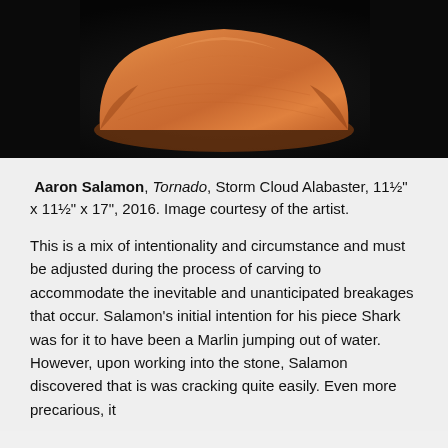[Figure (photo): Close-up photo of a smooth orange-brown wooden sculpture on a dark black background. The sculpture appears rounded and polished, showing wood grain texture.]
Aaron Salamon, Tornado, Storm Cloud Alabaster, 11½" x 11½" x 17", 2016. Image courtesy of the artist.
This is a mix of intentionality and circumstance and must be adjusted during the process of carving to accommodate the inevitable and unanticipated breakages that occur. Salamon's initial intention for his piece Shark was for it to have been a Marlin jumping out of water.  However, upon working into the stone, Salamon discovered that is was cracking quite easily. Even more precarious, it